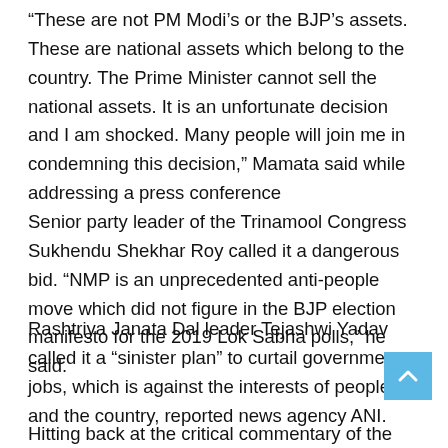“These are not PM Modi’s or the BJP’s assets. These are national assets which belong to the country. The Prime Minister cannot sell the national assets. It is an unfortunate decision and I am shocked. Many people will join me in condemning this decision,” Mamata said while addressing a press conference
Senior party leader of the Trinamool Congress Sukhendu Shekhar Roy called it a dangerous bid. “NMP is an unprecedented anti-people move which did not figure in the BJP election manifesto for the 2019 Lok Sabha polls,” he said.
Rashtriya Janata Dal leader Tejashwi Yadav called it a “sinister plan” to curtail government jobs, which is against the interests of people and the country, reported news agency ANI.
Hitting back at the critical commentary of the opposition, Finance Minister Nirmala Sitharaman said, “Does he (Rahul